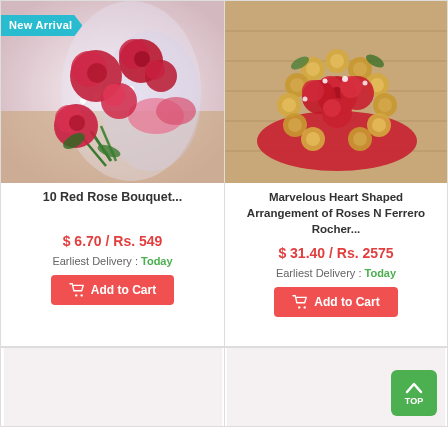[Figure (photo): 10 Red Rose Bouquet wrapped in pink cellophane on wooden surface, with New Arrival badge]
10 Red Rose Bouquet...
$ 6.70 / Rs. 549
Earliest Delivery : Today
Add to Cart
[Figure (photo): Marvelous Heart Shaped Arrangement of Roses N Ferrero Rocher on wooden surface]
Marvelous Heart Shaped Arrangement of Roses N Ferrero Rocher...
$ 31.40 / Rs. 2575
Earliest Delivery : Today
Add to Cart
[Figure (photo): Partially visible product card (bottom left)]
[Figure (photo): Partially visible product card (bottom right)]